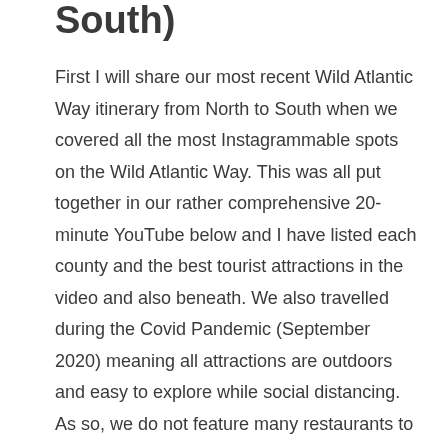South)
First I will share our most recent Wild Atlantic Way itinerary from North to South when we covered all the most Instagrammable spots on the Wild Atlantic Way. This was all put together in our rather comprehensive 20-minute YouTube below and I have listed each county and the best tourist attractions in the video and also beneath. We also travelled during the Covid Pandemic (September 2020) meaning all attractions are outdoors and easy to explore while social distancing. As so, we do not feature many restaurants to be safe or museums which were closed.